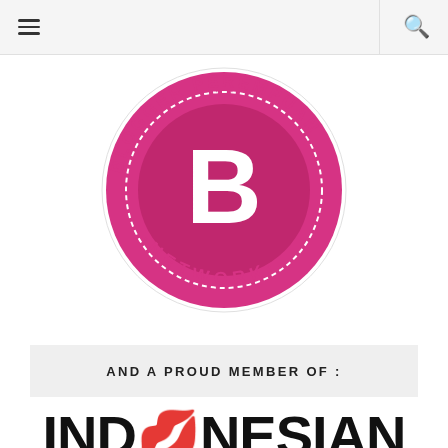≡  🔍
[Figure (logo): Blogger Perempuan Network logo: a circular pink badge with a large white 'B' in the center, surrounded by the text 'BLOGGER PEREMPUAN' on the top arc and 'NETWORK' on the bottom arc, with dashed circle border detail.]
AND A PROUD MEMBER OF :
INDONESIAN